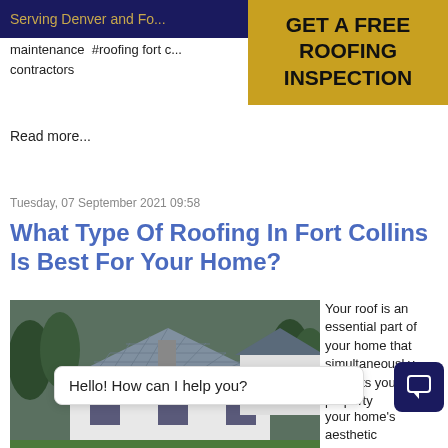Serving Denver and Fo...
[Figure (other): GET A FREE ROOFING INSPECTION call-to-action button in gold/yellow]
maintenance  #roofing fort c... contractors
Read more...
Tuesday, 07 September 2021 09:58
What Type Of Roofing In Fort Collins Is Best For Your Home?
[Figure (photo): Aerial view of white houses with grey tiled roofs surrounded by green trees]
Your roof is an essential part of your home that simultaneously protects your property
your home's aesthetic
Hello! How can I help you?